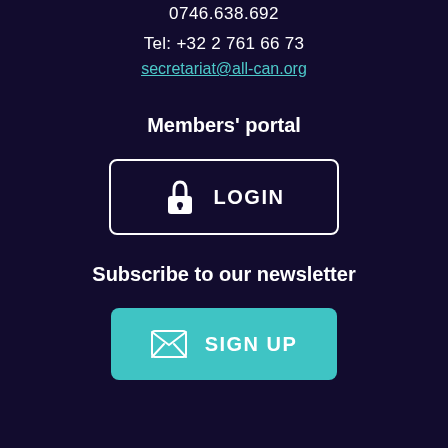0746.638.692
Tel: +32 2 761 66 73
secretariat@all-can.org
Members' portal
[Figure (other): LOGIN button with padlock icon, white border, dark background]
Subscribe to our newsletter
[Figure (other): SIGN UP button with envelope icon, teal background]